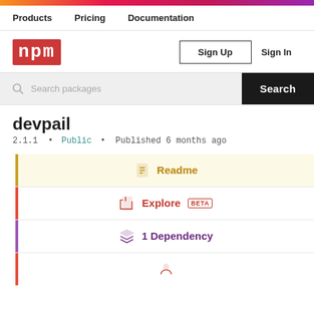npm gradient header bar
Products  Pricing  Documentation
[Figure (logo): npm logo in red background rectangle]
Sign Up  Sign In
Search packages  Search
devpail
2.1.1 • Public • Published 6 months ago
Readme
Explore BETA
1 Dependency
0 Dependents